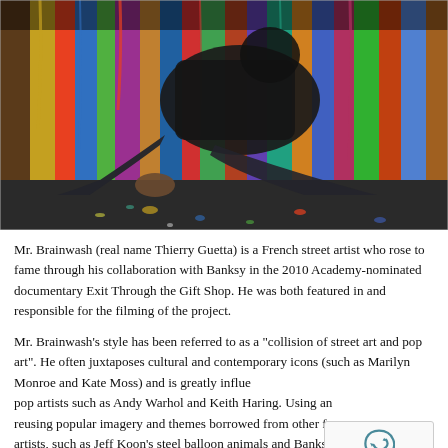[Figure (photo): A person (street artist) sitting/lying on a paint-splattered floor against a colorful graffiti-covered wall, wearing dark jeans and paint-stained shoes. The floor and wall are covered in drips and splashes of multicolor paint.]
Mr. Brainwash (real name Thierry Guetta) is a French street artist who rose to fame through his collaboration with Banksy in the 2010 Academy-nominated documentary Exit Through the Gift Shop. He was both featured in and responsible for the filming of the project.
Mr. Brainwash's style has been referred to as a "collision of street art and pop art". He often juxtaposes cultural and contemporary icons (such as Marilyn Monroe and Kate Moss) and is greatly influenced by pop artists such as Andy Warhol and Keith Haring. Using and reusing popular imagery and themes borrowed from other famous artists, such as Jeff Koon's steel balloon animals and Banksy's 'Throwing Man', Mr Brainwash aligns his artistic intentions with